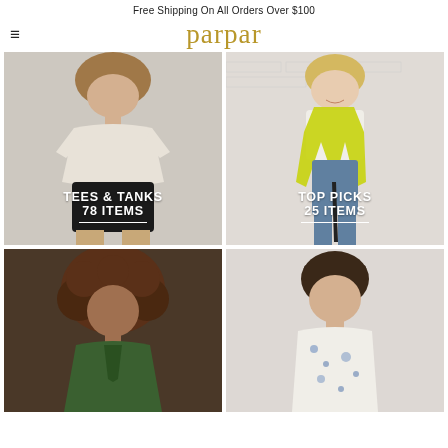Free Shipping On All Orders Over $100
parpar
[Figure (photo): Woman wearing white t-shirt and black shorts on grey background, with text overlay TEES & TANKS 78 ITEMS]
[Figure (photo): Woman wearing white top and yellow-green wrap/scarf on white brick wall background, with text overlay TOP PICKS 25 ITEMS]
[Figure (photo): Woman with curly hair wearing green cardigan, bottom portion of image visible]
[Figure (photo): Woman with bangs wearing white floral/printed top on white brick background, bottom portion visible]